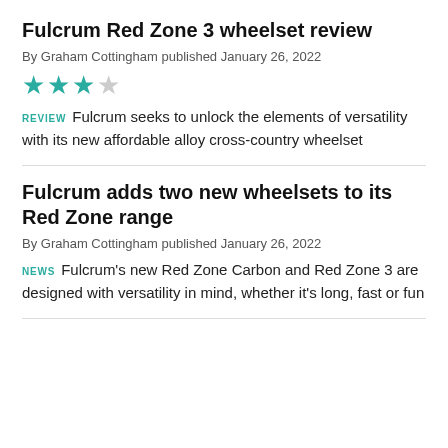Fulcrum Red Zone 3 wheelset review
By Graham Cottingham published January 26, 2022
[Figure (other): Star rating: 3 out of 5 stars (teal filled stars, grey empty star)]
REVIEW   Fulcrum seeks to unlock the elements of versatility with its new affordable alloy cross-country wheelset
Fulcrum adds two new wheelsets to its Red Zone range
By Graham Cottingham published January 26, 2022
NEWS   Fulcrum's new Red Zone Carbon and Red Zone 3 are designed with versatility in mind, whether it's long, fast or fun